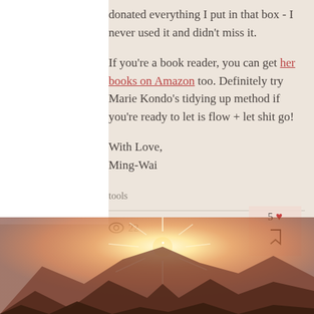donated everything I put in that box - I never used it and didn't miss it.
If you're a book reader, you can get her books on Amazon too. Definitely try Marie Kondo's tidying up method if you're ready to let is flow + let shit go!
With Love,
Ming-Wai
tools
22
5
[Figure (photo): Sunset over mountain landscape with bright sun flare at the peaks]